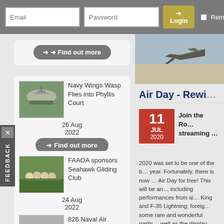Email | Password | Login | Remember Me
[Figure (photo): Helicopter on grass field - Navy Wings Wasp thumbnail]
Navy Wings Wasp Flies into Phyllis Court
26 Aug 2022
Find out more
[Figure (photo): Group of people standing in field - FAAOA sponsors Seahawk Gliding Club thumbnail]
FAAOA sponsors Seahawk Gliding Club
24 Aug 2022
Find out more
[Figure (photo): Group military photo - 826 Naval Air Squadron Falklands 40th Anniversary Reunion thumbnail]
826 Naval Air Squadron Falklands 40th Anniversary Reunion
[Figure (photo): Aircraft flying - banner photo at top of right panel]
Air Day - Rewi…
11 JUL 2020
Join the Ro… streaming …
2020 was set to be one of the b… year. Fortunately, there is now … Air Day for free! This will be an… including performances from ai… King and F-35 Lightning; foreig… some rare and wonderful partic… well as the display footage, the… Get ready to turn up the volum… displays from the mid-90's all f…